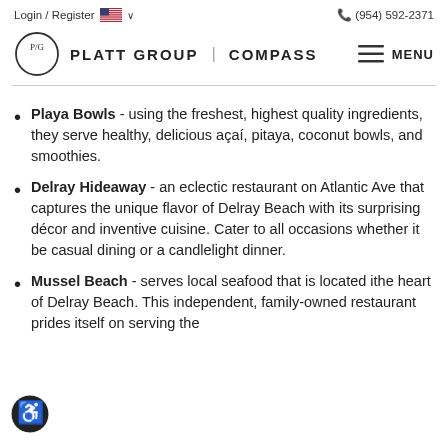Login / Register   (954) 592-2371
[Figure (logo): Platt Group | Compass logo with P/G circle emblem and hamburger menu icon]
Playa Bowls - using the freshest, highest quality ingredients, they serve healthy, delicious açaí, pitaya, coconut bowls, and smoothies.
Delray Hideaway - an eclectic restaurant on Atlantic Ave that captures the unique flavor of Delray Beach with its surprising décor and inventive cuisine. Cater to all occasions whether it be casual dining or a candlelight dinner.
Mussel Beach - serves local seafood that is located ithe heart of Delray Beach. This independent, family-owned restaurant prides itself on serving the